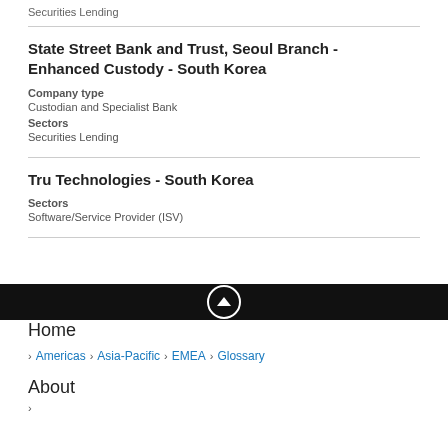Securities Lending
State Street Bank and Trust, Seoul Branch - Enhanced Custody - South Korea
Company type
Custodian and Specialist Bank
Sectors
Securities Lending
Tru Technologies - South Korea
Sectors
Software/Service Provider (ISV)
Home
Americas
Asia-Pacific
EMEA
Glossary
About